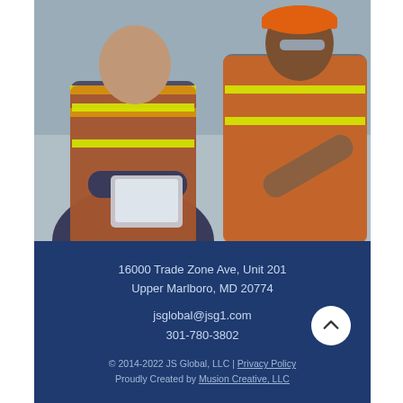[Figure (photo): Two construction workers in orange safety vests and helmets; one holding a tablet, another pointing and discussing]
16000 Trade Zone Ave, Unit 201
Upper Marlboro, MD 20774
jsglobal@jsg1.com
301-780-3802
© 2014-2022 JS Global, LLC | Privacy Policy
Proudly Created by Musion Creative, LLC